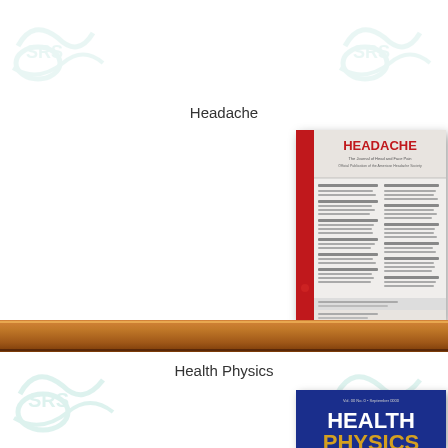[Figure (illustration): Watermark logo top-left — stylized 'SRS' or similar in light teal/green]
[Figure (illustration): Watermark logo top-right — stylized 'SRS' or similar in light teal/green]
Headache
[Figure (photo): Cover image of the journal 'HEADACHE' — white and red cover with text content listing, placed on a wooden shelf]
[Figure (illustration): Watermark logo mid-left — stylized 'SRS' in light teal/green]
[Figure (illustration): Watermark logo mid-right — stylized 'SRS' in light teal/green]
Health Physics
[Figure (photo): Cover image of the journal 'HEALTH PHYSICS' — dark blue cover with bold white title text, partially visible at bottom of page]